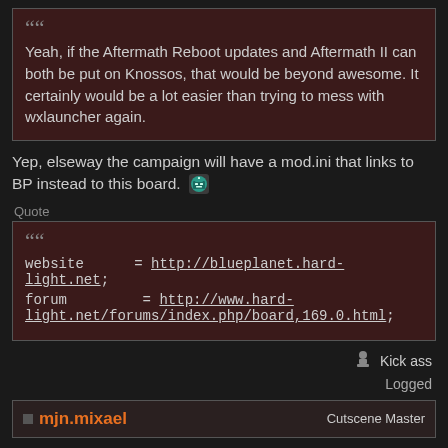Yeah, if the Aftermath Reboot updates and Aftermath II can both be put on Knossos, that would be beyond awesome. It certainly would be a lot easier than trying to mess with wxlauncher again.
Yep, elseway the campaign will have a mod.ini that links to BP instead to this board.
Quote
website      = http://blueplanet.hard-light.net;
forum        = http://www.hard-light.net/forums/index.php/board,169.0.html;
Kick ass
Logged
mjn.mixael   Cutscene Master